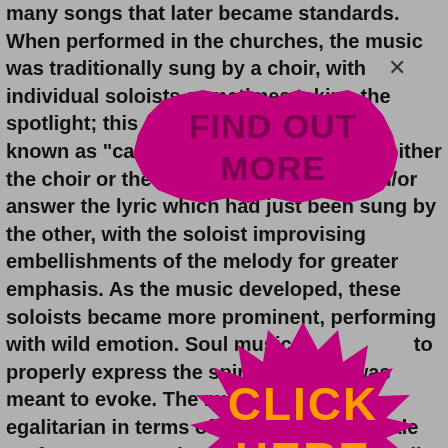many songs that later became standards. When performed in the churches, the music was traditionally sung by a choir, with individual soloists sometimes taking the spotlight; this often happened in a form known as "call and response," in which either the choir or the soloist would repeat and/or answer the lyric which had just been sung by the other, with the soloist improvising embellishments of the melody for greater emphasis. As the music developed, these soloists became more prominent, performing with wild emotion. Soul music is to properly express the spirituals it was meant to evoke. The music was quite egalitarian in terms of gender, as male performers -- Brother Joe Ma... Mahalia Jackson, the ... ed wide renown am... es. The small-gro... ajor figures inc... ippi, the Soul Sti... e Hummin... a greater pr... hough some pe... energy (if not qu... loist group. As ... nd black
[Figure (infographic): Magenta starburst/gear shape with bold text 'FIND OUT MORE' in dark magenta on top, and a second larger magenta spiky badge shape below with bold orange text 'CLICK HERE']